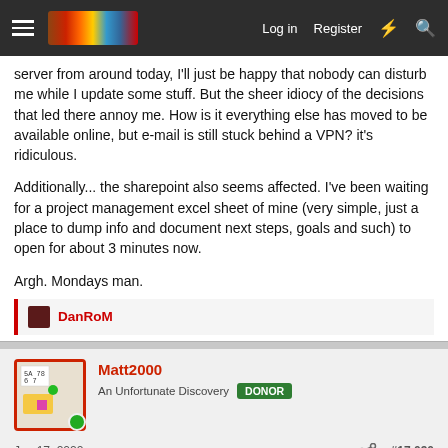Log in  Register
server from around today, I'll just be happy that nobody can disturb me while I update some stuff. But the sheer idiocy of the decisions that led there annoy me. How is it everything else has moved to be available online, but e-mail is still stuck behind a VPN? it's ridiculous.
Additionally... the sharepoint also seems affected. I've been waiting for a project management excel sheet of mine (very simple, just a place to dump info and document next steps, goals and such) to open for about 3 minutes now.
Argh. Mondays man.
DanRoM
Matt2000
An Unfortunate Discovery  DONOR
Jan 17, 2022  #17,090